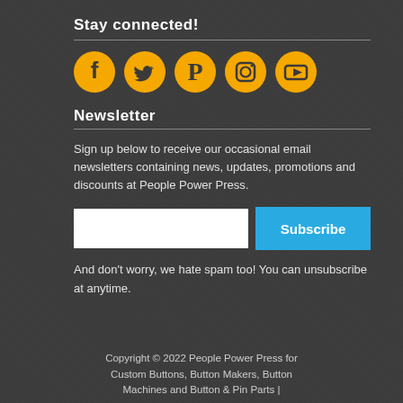Stay connected!
[Figure (illustration): Five social media icons (Facebook, Twitter, Pinterest, Instagram, YouTube) rendered as golden/yellow filled circles with dark icons inside.]
Newsletter
Sign up below to receive our occasional email newsletters containing news, updates, promotions and discounts at People Power Press.
And don't worry, we hate spam too! You can unsubscribe at anytime.
Copyright © 2022 People Power Press for Custom Buttons, Button Makers, Button Machines and Button & Pin Parts |